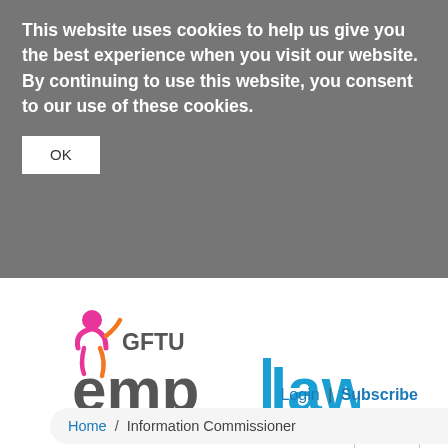This website uses cookies to help us give you the best experience when you visit our website. By continuing to use this website, you consent to our use of these cookies.
OK
[Figure (logo): GFTU emplaw logo — stylized figure icon in pink/orange on left, 'GFTU' in dark grey, 'emp' in dark grey large text, 'law' in blue large text, vertical blue bar between 'emp' and 'law']
Login | Subscribe
[Figure (other): Hamburger menu icon — three horizontal lines in a rounded rectangle border]
Home / Information Commissioner